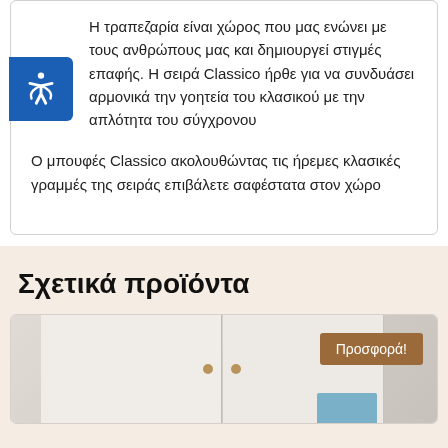Η τραπεζαρία είναι χώρος που μας ενώνει με τους ανθρώπους μας και δημιουργεί στιγμές επαφής. Η σειρά Classico ήρθε για να συνδυάσει αρμονικά την γοητεία του κλασικού με την απλότητα του σύγχρονου
Ο μπουφές Classico ακολουθώντας τις ήρεμες κλασικές γραμμές της σειράς επιβάλετε σαφέστατα στον χώρο
Σχετικά προϊόντα
[Figure (photo): Product photo showing a white cabinet/buffet with doors and a knob, with a brown promotional badge reading 'Προσφορά!' in the top right corner]